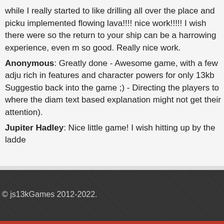while I really started to like drilling all over the place and picku implemented flowing lava!!!! nice work!!!!! I wish there were so the return to your ship can be a harrowing experience, even m so good. Really nice work.
Anonymous: Greatly done - Awesome game, with a few adju rich in features and character powers for only 13kb Suggestio back into the game ;) - Directing the players to where the diam text based explanation might not get their attention).
Jupiter Hadley: Nice little game! I wish hitting up by the ladde
© js13kGames 2012-2022.